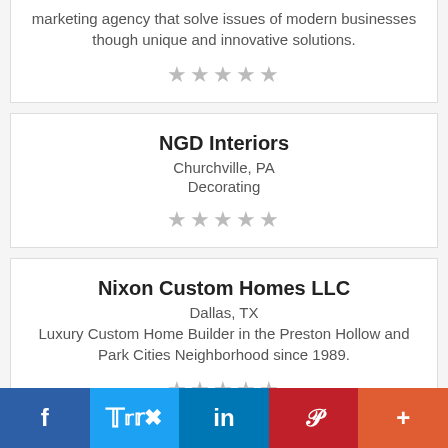marketing agency that solve issues of modern businesses though unique and innovative solutions.
[Figure (other): 5 grey stars rating]
NGD Interiors
Churchville, PA
Decorating
[Figure (other): 5 grey stars rating]
Nixon Custom Homes LLC
Dallas, TX
Luxury Custom Home Builder in the Preston Hollow and Park Cities Neighborhood since 1989.
[Figure (other): 5 grey stars rating]
f  Twitter  in  P  +